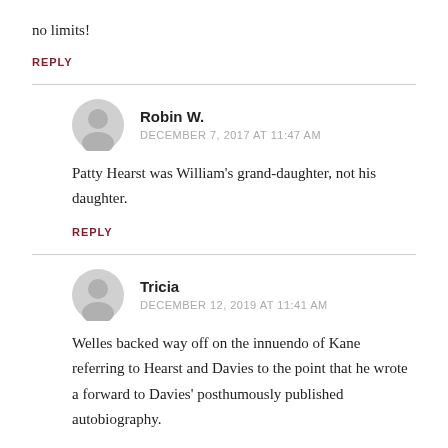no limits!
REPLY
Robin W.
DECEMBER 7, 2017 AT 11:47 AM
Patty Hearst was William's grand-daughter, not his daughter.
REPLY
Tricia
DECEMBER 12, 2019 AT 11:41 AM
Welles backed way off on the innuendo of Kane referring to Hearst and Davies to the point that he wrote a forward to Davies' posthumously published autobiography.